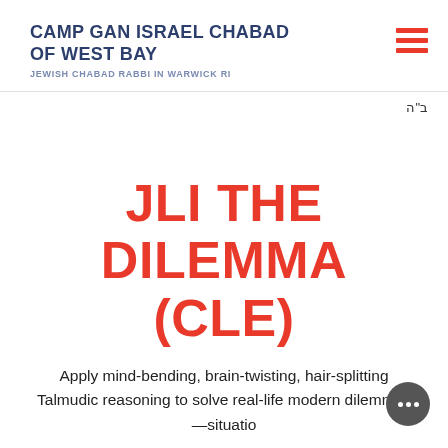CAMP GAN ISRAEL CHABAD OF WEST BAY
JEWISH CHABAD RABBI IN WARWICK RI
ב"ה
JLI THE DILEMMA (CLE)
Apply mind-bending, brain-twisting, hair-splitting Talmudic reasoning to solve real-life modern dilemmas—situatio